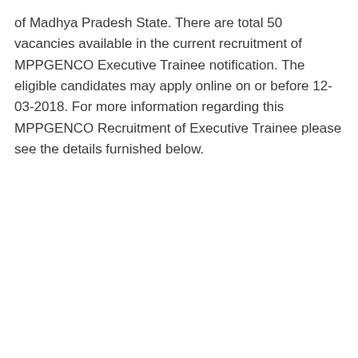of Madhya Pradesh State. There are total 50 vacancies available in the current recruitment of MPPGENCO Executive Trainee notification. The eligible candidates may apply online on or before 12-03-2018. For more information regarding this MPPGENCO Recruitment of Executive Trainee please see the details furnished below.